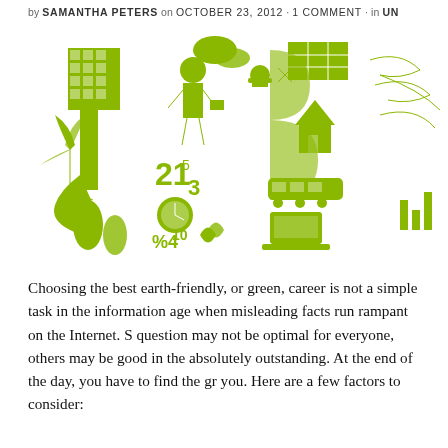by SAMANTHA PETERS on OCTOBER 23, 2012 · 1 COMMENT · in UN
[Figure (infographic): Green/olive illustrated infographic depicting the word 'JOBS' made up of icons related to green careers: buildings, wind turbines, a businessman, construction workers, solar panels, houses, trains, laptops, recycling symbols, clocks, vegetables, and numbers like 21, 3, 5, 10, 4, % symbols.]
Choosing the best earth-friendly, or green, career is not a simple task in the information age when misleading facts run rampant on the Internet. Some in question may not be optimal for everyone, others may be good in the absolutely outstanding. At the end of the day, you have to find the gr you. Here are a few factors to consider: